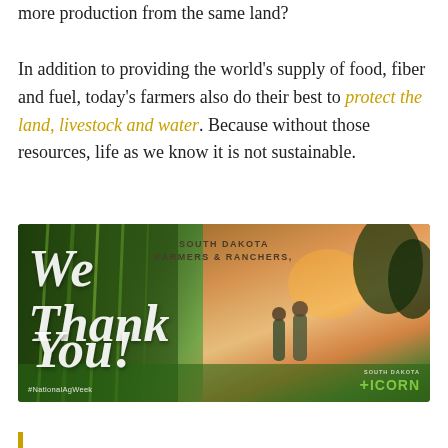more production from the same land?

In addition to providing the world's supply of food, fiber and fuel, today's farmers also do their best to protect the land, livestock and water. Because without those resources, life as we know it is not sustainable.
[Figure (photo): South Dakota Farmers & Ranchers promotional image showing two people walking through a cornfield at sunset with text 'We Thank You!' and hashtag #NationalAgWeek and ICORN logo]